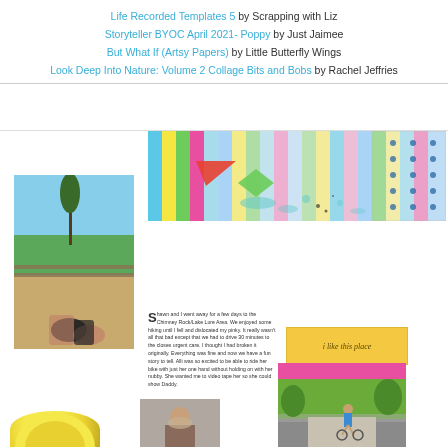Life Recorded Templates 5 by Scrapping with Liz
Storyteller BYOC April 2021- Poppy by Just Jaimee
But What If (Artsy Papers) by Little Butterfly Wings
Look Deep Into Nature: Volume 2 Collage Bits and Bobs by Rachel Jeffries
[Figure (photo): Scrapbook layout with outdoor photo showing feet/legs relaxing with blue sky and tree, colorful striped paper background, journaling text block, 'I like this place' tag, pink bar, and small photos of person and child on bike path]
Shawn and I went away for a few days to the Chimney Rock/Lake Lure Area. We enjoyed some hiking until I fell and dislocated my pinky. It really wasn't all that bad except that we had to drive 30 minutes to the closes urgent care. I thought I had broken it originally. Everything was fine and now we have a fun story to tell. Alli was so excited to be able to ride her bike with just her one hand without holding on with her nubby. She wanted me to video tape her so she could show Daddy.